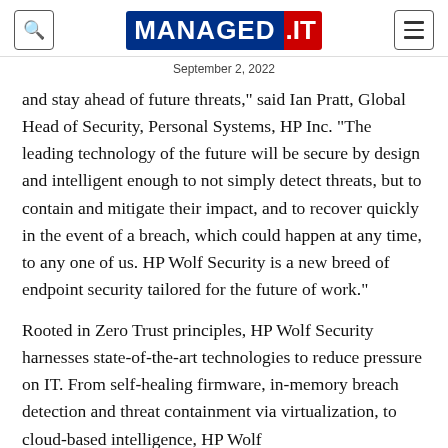MANAGED.IT — September 2, 2022
and stay ahead of future threats," said Ian Pratt, Global Head of Security, Personal Systems, HP Inc. "The leading technology of the future will be secure by design and intelligent enough to not simply detect threats, but to contain and mitigate their impact, and to recover quickly in the event of a breach, which could happen at any time, to any one of us. HP Wolf Security is a new breed of endpoint security tailored for the future of work."
Rooted in Zero Trust principles, HP Wolf Security harnesses state-of-the-art technologies to reduce pressure on IT. From self-healing firmware, in-memory breach detection and threat containment via virtualization, to cloud-based intelligence, HP Wolf